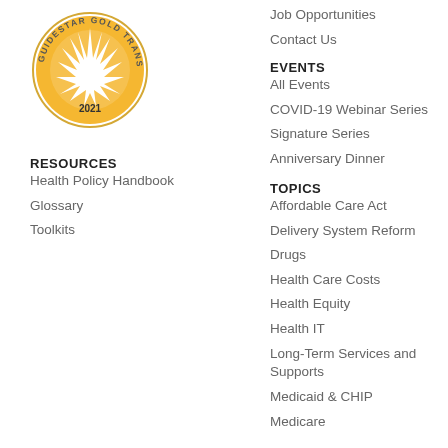Job Opportunities
Contact Us
EVENTS
All Events
COVID-19 Webinar Series
Signature Series
Anniversary Dinner
[Figure (logo): GuideStar Gold Transparency 2021 badge — circular gold badge with a starburst in the center and text around the ring]
RESOURCES
Health Policy Handbook
Glossary
Toolkits
TOPICS
Affordable Care Act
Delivery System Reform
Drugs
Health Care Costs
Health Equity
Health IT
Long-Term Services and Supports
Medicaid & CHIP
Medicare